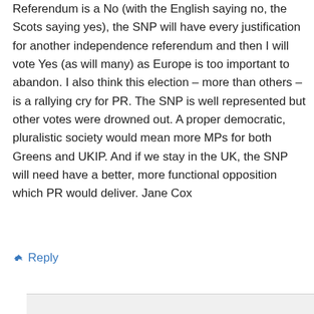Referendum is a No (with the English saying no, the Scots saying yes), the SNP will have every justification for another independence referendum and then I will vote Yes (as will many) as Europe is too important to abandon. I also think this election – more than others – is a rallying cry for PR. The SNP is well represented but other votes were drowned out. A proper democratic, pluralistic society would mean more MPs for both Greens and UKIP. And if we stay in the UK, the SNP will need have a better, more functional opposition which PR would deliver. Jane Cox
↳ Reply